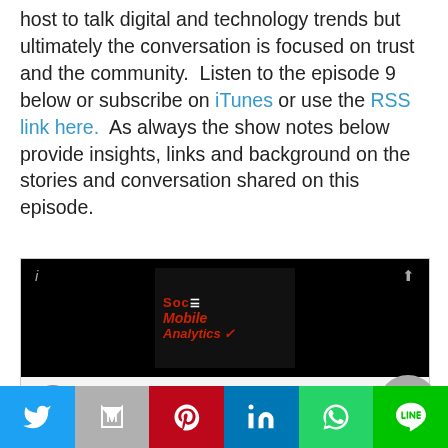host to talk digital and technology trends but ultimately the conversation is focused on trust and the community.  Listen to the episode 9 below or subscribe on iTunes or use the RSS link here.  As always the show notes below provide insights, links and background on the stories and conversation shared on this episode.
[Figure (screenshot): Embedded audio player for episode 'Why Digital Starts with Trust and Community! Co-Host ...' with play button, progress bar, timestamp 00:00:00, and Libsyn branding. Thumbnail shows Social Mobile Analytics logo.]
Show Notes:
[Figure (other): Social sharing bar with Twitter, Gmail, Pinterest, LinkedIn, WhatsApp, and Line buttons]